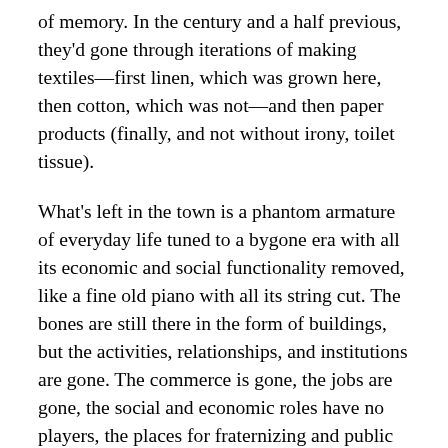of memory. In the century and a half previous, they'd gone through iterations of making textiles—first linen, which was grown here, then cotton, which was not—and then paper products (finally, and not without irony, toilet tissue).
What's left in the town is a phantom armature of everyday life tuned to a bygone era with all its economic and social functionality removed, like a fine old piano with all its string cut. The bones are still there in the form of buildings, but the activities, relationships, and institutions are gone. The commerce is gone, the jobs are gone, the social and economic roles have no players, the places for fraternizing and public entertainment gone, the churches nearly empty. There's a post-1980 shopping strip on the highway leaving the west end of town. That's where the supermarket is (it replaced a 1960s IGA closer to the center, which replaced the various greengrocers,